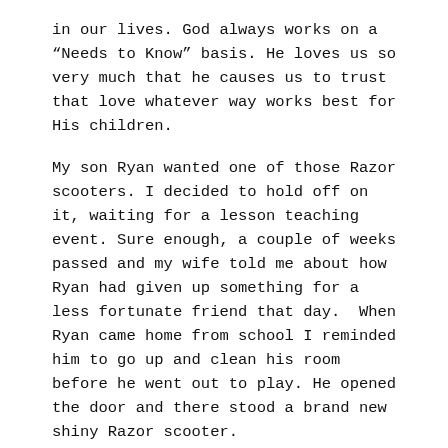in our lives. God always works on a “Needs to Know” basis. He loves us so very much that he causes us to trust that love whatever way works best for His children.
My son Ryan wanted one of those Razor scooters. I decided to hold off on it, waiting for a lesson teaching event. Sure enough, a couple of weeks passed and my wife told me about how Ryan had given up something for a less fortunate friend that day.  When Ryan came home from school I reminded him to go up and clean his room before he went out to play. He opened the door and there stood a brand new shiny Razor scooter.
Father, thank you for your perfectly timed love for me.